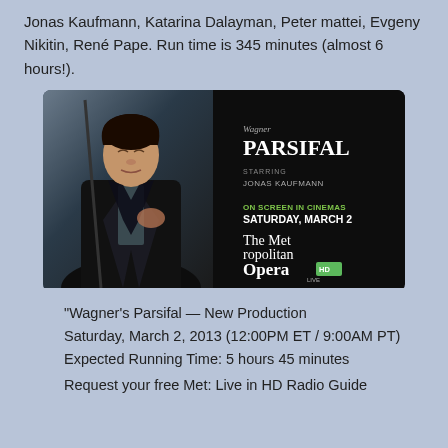Jonas Kaufmann, Katarina Dalayman, Peter mattei, Evgeny Nikitin, René Pape. Run time is 345 minutes (almost 6 hours!).
[Figure (photo): Promotional poster for Wagner's Parsifal at The Metropolitan Opera. Left half shows a dark-haired man in a black coat holding a staff. Right half on black background shows text: Wagner PARSIFAL, STARRING JONAS KAUFMANN, ON SCREEN IN CINEMAS, SATURDAY, MARCH 2, The Metropolitan Opera HD LIVE logo.]
“Wagner’s Parsifal — New Production Saturday, March 2, 2013 (12:00PM ET / 9:00AM PT)
Expected Running Time: 5 hours 45 minutes
Request your free Met: Live in HD Radio Guide